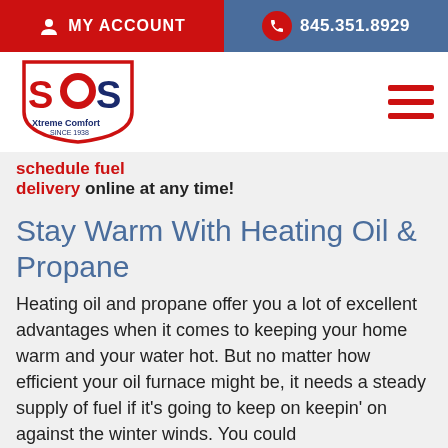MY ACCOUNT | 845.351.8929
[Figure (logo): SOS Xtreme Comfort logo - shield shape with SOS text in red and blue, Xtreme Comfort subtitle]
schedule fuel delivery online at any time!
Stay Warm With Heating Oil & Propane
Heating oil and propane offer you a lot of excellent advantages when it comes to keeping your home warm and your water hot. But no matter how efficient your oil furnace might be, it needs a steady supply of fuel if it's going to keep on keepin' on against the winter winds. You could